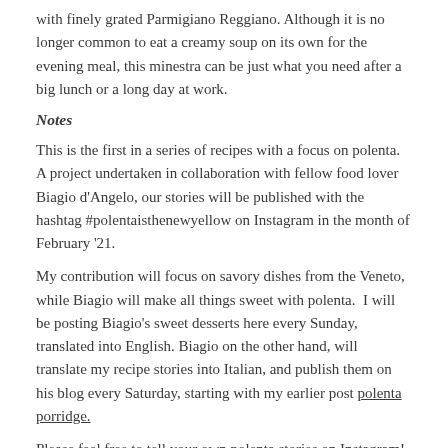with finely grated Parmigiano Reggiano. Although it is no longer common to eat a creamy soup on its own for the evening meal, this minestra can be just what you need after a big lunch or a long day at work.
Notes
This is the first in a series of recipes with a focus on polenta. A project undertaken in collaboration with fellow food lover Biagio d'Angelo, our stories will be published with the hashtag #polentaisthenewyellow on Instagram in the month of February '21.
My contribution will focus on savory dishes from the Veneto, while Biagio will make all things sweet with polenta.  I will be posting Biagio's sweet desserts here every Sunday, translated into English. Biagio on the other hand, will translate my recipe stories into Italian, and publish them on his blog every Saturday, starting with my earlier post polenta porridge.
Please feel free to tell your own polenta stories on Instagram! If you read Italian, you simply must look up cleartheblog by Biagio